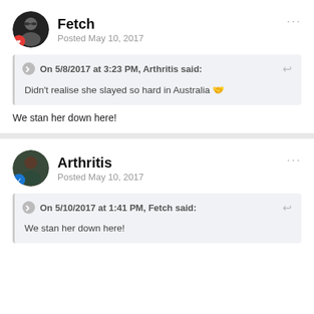Fetch
Posted May 10, 2017
On 5/8/2017 at 3:23 PM, Arthritis said:
Didn't realise she slayed so hard in Australia 🤙
We stan her down here!
Arthritis
Posted May 10, 2017
On 5/10/2017 at 1:41 PM, Fetch said:
We stan her down here!